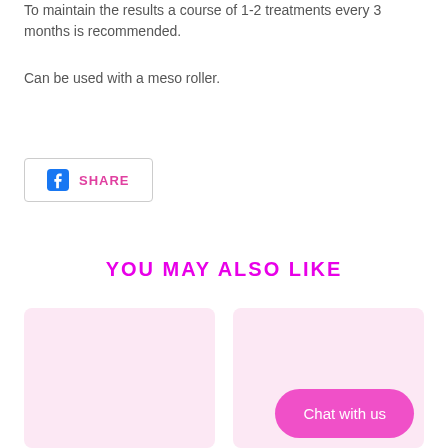To maintain the results a course of 1-2 treatments every 3 months is recommended.
Can be used with a meso roller.
[Figure (other): Facebook Share button with rounded border, Facebook logo icon and SHARE label in pink]
YOU MAY ALSO LIKE
[Figure (other): Two product placeholder cards with light pink background, and a pink chat button overlay reading 'Chat with us']